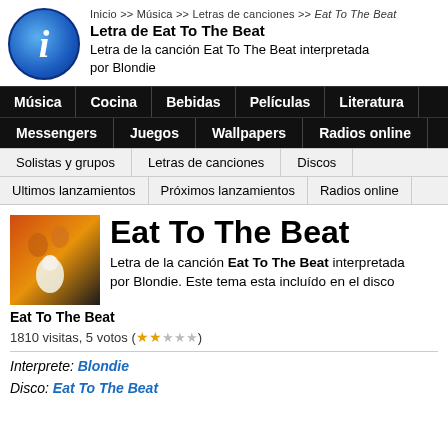Inicio >> Música >> Letras de canciones >> Eat To The Beat
Letra de Eat To The Beat
Letra de la canción Eat To The Beat interpretada por Blondie
Música | Cocina | Bebidas | Películas | Literatura
Messengers | Juegos | Wallpapers | Radios online
Solistas y grupos | Letras de canciones | Discos
Ultimos lanzamientos | Próximos lanzamientos | Radios online
Eat To The Beat
Letra de la canción Eat To The Beat interpretada por Blondie. Este tema esta incluído en el disco Eat To The Beat
1810 visitas, 5 votos (★★☆☆☆)
Interprete: Blondie
Disco: Eat To The Beat